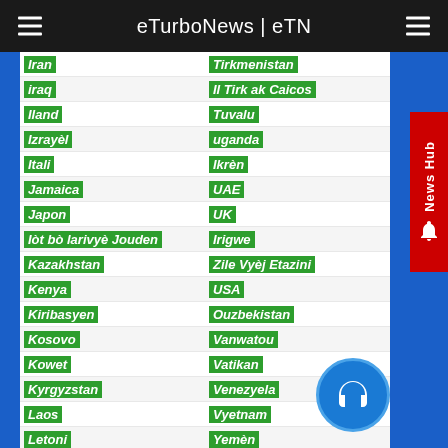eTurboNews | eTN
| Country (Left) | Country (Right) |
| --- | --- |
| Iran | Tirkmenistan |
| iraq | Il Tirk ak Caicos |
| Iland | Tuvalu |
| Izrayèl | uganda |
| Itali | Ikrèn |
| Jamaica | UAE |
| Japon | UK |
| Iòt bò larivyè Jouden | Irigwe |
| Kazakhstan | Zile Vyèj Etazini |
| Kenya | USA |
| Kiribasyen | Ouzbekistan |
| Kosovo | Vanwatou |
| Kowet | Vatikan |
| Kyrgyzstan | Venezyela |
| Laos | Vyetnam |
| Letoni | Yemèn |